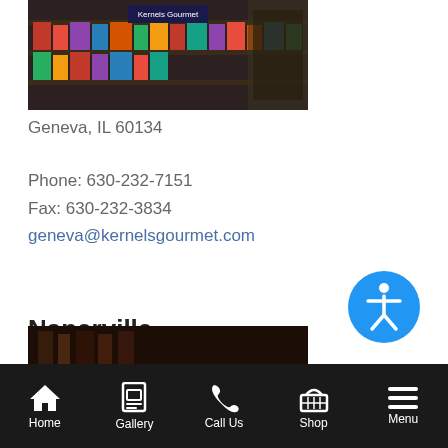[Figure (photo): Store interior photo showing merchandise shelves and displays]
Geneva, IL 60134
Phone: 630-232-7151
Fax: 630-232-3834
geneva@kernelsgourmet.com
[Figure (other): Blue circular accessibility button with human figure icon]
Naperville
[Figure (photo): Partial store interior photo for Naperville location]
Home   Gallery   Call Us   Shop   Menu